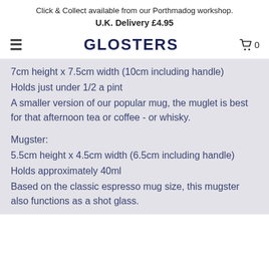Click & Collect available from our Porthmadog workshop.
U.K. Delivery £4.95
GLOSTERS
7cm height x 7.5cm width (10cm including handle)
Holds just under 1/2 a pint
A smaller version of our popular mug, the muglet is best for that afternoon tea or coffee - or whisky.
Mugster:
5.5cm height x 4.5cm width (6.5cm including handle)
Holds approximately 40ml
Based on the classic espresso mug size, this mugster also functions as a shot glass.